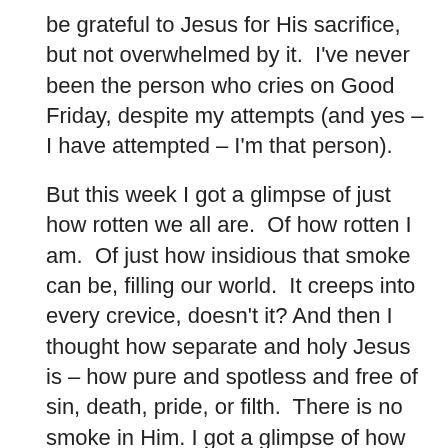be grateful to Jesus for His sacrifice, but not overwhelmed by it.  I've never been the person who cries on Good Friday, despite my attempts (and yes – I have attempted – I'm that person).
But this week I got a glimpse of just how rotten we all are.  Of how rotten I am.  Of just how insidious that smoke can be, filling our world.  It creeps into every crevice, doesn't it? And then I thought how separate and holy Jesus is – how pure and spotless and free of sin, death, pride, or filth.  There is no smoke in Him. I got a glimpse of how demeaning it would have been for a flawless, perfect God to step into that rot and be humiliated and killed by the very people He gave up heaven to save.
He died for us all – and because of His death, we who